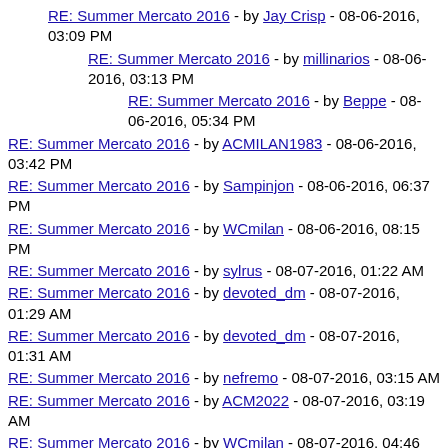RE: Summer Mercato 2016 - by Jay Crisp - 08-06-2016, 03:09 PM
RE: Summer Mercato 2016 - by millinarios - 08-06-2016, 03:13 PM
RE: Summer Mercato 2016 - by Beppe - 08-06-2016, 05:34 PM
RE: Summer Mercato 2016 - by ACMILAN1983 - 08-06-2016, 03:42 PM
RE: Summer Mercato 2016 - by Sampinjon - 08-06-2016, 06:37 PM
RE: Summer Mercato 2016 - by WCmilan - 08-06-2016, 08:15 PM
RE: Summer Mercato 2016 - by sylrus - 08-07-2016, 01:22 AM
RE: Summer Mercato 2016 - by devoted_dm - 08-07-2016, 01:29 AM
RE: Summer Mercato 2016 - by devoted_dm - 08-07-2016, 01:31 AM
RE: Summer Mercato 2016 - by nefremo - 08-07-2016, 03:15 AM
RE: Summer Mercato 2016 - by ACM2022 - 08-07-2016, 03:19 AM
RE: Summer Mercato 2016 - by WCmilan - 08-07-2016, 04:46 AM
RE: Summer Mercato 2016 - by am I Milan enough? - 08-07-